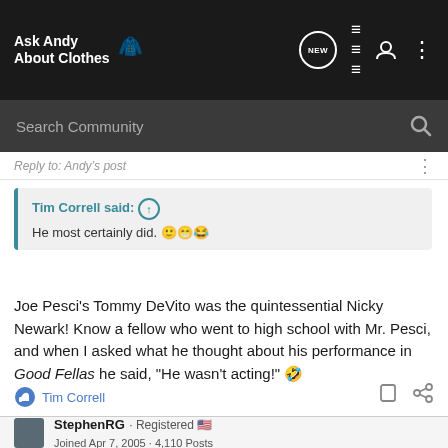Ask Andy About Clothes — NEW — navigation icons
Search Community
Tim Correll said: ↑
He most certainly did. 🙂😁😂
Joe Pesci's Tommy DeVito was the quintessential Nicky Newark! Know a fellow who went to high school with Mr. Pesci, and when I asked what he thought about his performance in Good Fellas he said, "He wasn't acting!" 🤣
👍 Tim Correll
StephenRG · Registered 🇺🇸
Joined Apr 7, 2005 · 4,110 Posts